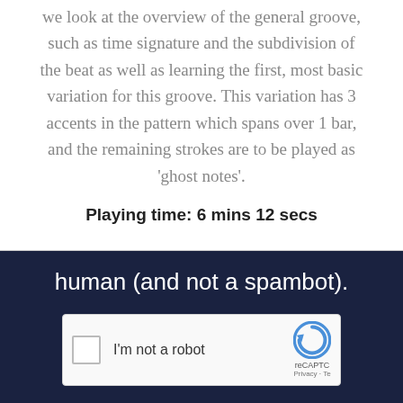we look at the overview of the general groove, such as time signature and the subdivision of the beat as well as learning the first, most basic variation for this groove. This variation has 3 accents in the pattern which spans over 1 bar, and the remaining strokes are to be played as 'ghost notes'.
Playing time: 6 mins 12 secs
human (and not a spambot).
[Figure (other): reCAPTCHA widget with checkbox labeled 'I'm not a robot' and reCAPTCHA logo on the right showing branding and Privacy/Terms links]
vumeo